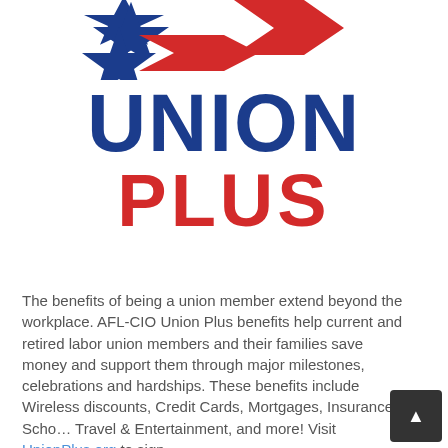[Figure (logo): Union Plus logo with star graphic on top, 'UNION' in large bold blue text, 'PLUS' in large bold red text]
The benefits of being a union member extend beyond the workplace. AFL-CIO Union Plus benefits help current and retired labor union members and their families save money and support them through major milestones, celebrations and hardships. These benefits include Wireless discounts, Credit Cards, Mortgages, Insurance, Scho... Travel & Entertainment, and more! Visit UnionPlus.org to sign